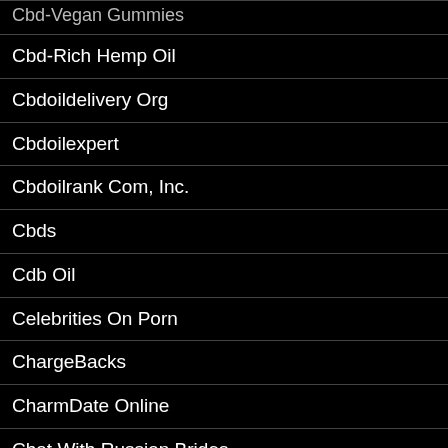Cbd-Vegan Gummies
Cbd-Rich Hemp Oil
Cbdoildelivery Org
Cbdoilexpert
Cbdoilrank Com, Inc.
Cbds
Cdb Oil
Celebrities On Porn
ChargeBacks
CharmDate Online
Chat With Russian Brides
Chatavenue'
Chatavenue.